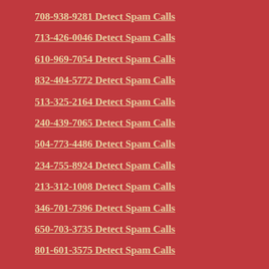708-938-9281 Detect Spam Calls
713-426-0046 Detect Spam Calls
610-969-7054 Detect Spam Calls
832-404-5772 Detect Spam Calls
513-325-2164 Detect Spam Calls
240-439-7065 Detect Spam Calls
504-773-4486 Detect Spam Calls
234-755-8924 Detect Spam Calls
213-312-1008 Detect Spam Calls
346-701-7396 Detect Spam Calls
650-703-3735 Detect Spam Calls
801-601-3575 Detect Spam Calls